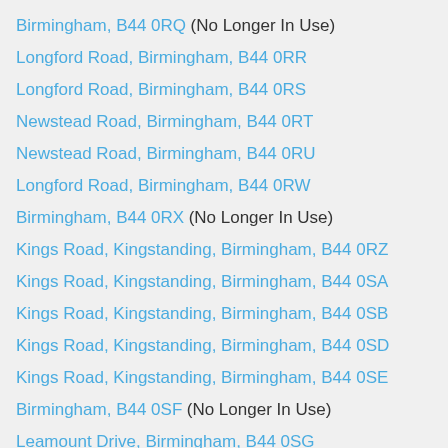Birmingham, B44 0RQ (No Longer In Use)
Longford Road, Birmingham, B44 0RR
Longford Road, Birmingham, B44 0RS
Newstead Road, Birmingham, B44 0RT
Newstead Road, Birmingham, B44 0RU
Longford Road, Birmingham, B44 0RW
Birmingham, B44 0RX (No Longer In Use)
Kings Road, Kingstanding, Birmingham, B44 0RZ
Kings Road, Kingstanding, Birmingham, B44 0SA
Kings Road, Kingstanding, Birmingham, B44 0SB
Kings Road, Kingstanding, Birmingham, B44 0SD
Kings Road, Kingstanding, Birmingham, B44 0SE
Birmingham, B44 0SF (No Longer In Use)
Leamount Drive, Birmingham, B44 0SG
Kings Road, Kingstanding, Birmingham, B44 0SH